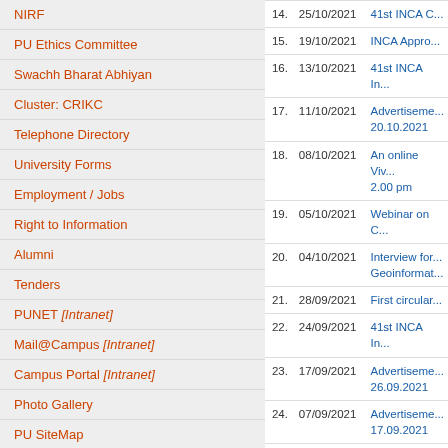NIRF
PU Ethics Committee
Swachh Bharat Abhiyan
Cluster: CRIKC
Telephone Directory
University Forms
Employment / Jobs
Right to Information
Alumni
Tenders
PUNET [Intranet]
Mail@Campus [Intranet]
Campus Portal [Intranet]
Photo Gallery
PU SiteMap
| No. | Date | Title |
| --- | --- | --- |
| 14. | 25/10/2021 | 41st INCA C... |
| 15. | 19/10/2021 | INCA Appro... |
| 16. | 13/10/2021 | 41st INCA In... |
| 17. | 11/10/2021 | Advertisement... 20.10.2021 |
| 18. | 08/10/2021 | An online Viv... 2.00 pm |
| 19. | 05/10/2021 | Webinar on C... |
| 20. | 04/10/2021 | Interview for... Geoinformat... |
| 21. | 28/09/2021 | First circular... |
| 22. | 24/09/2021 | 41st INCA In... |
| 23. | 17/09/2021 | Advertisement... 26.09.2021 |
| 24. | 07/09/2021 | Advertisement... 17.09.2021 |
| 25. | 07/09/2021 | Advertisement... Institutional C... |
| 26. | 31/08/2021 | Viva -voce o... at 12.00 noo... |